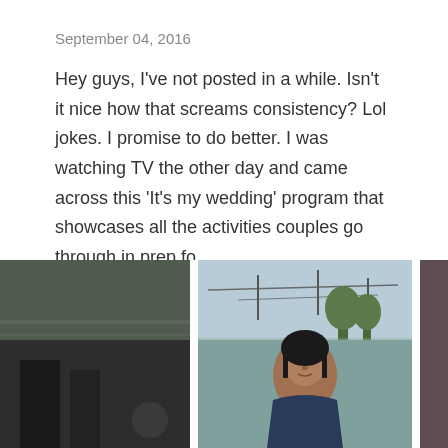September 04, 2016
Hey guys, I've not posted in a while. Isn't it nice how that screams consistency? Lol jokes. I promise to do better. I was watching TV the other day and came across this 'It's my wedding' program that showcases all the activities couples go through in prep fo ...
SHARE   50 COMMENTS   READ MORE
[Figure (photo): Three-panel photo strip showing outdoor scene on left, a woman on television screen in center panel, and a purple/mauve wall on right panel.]